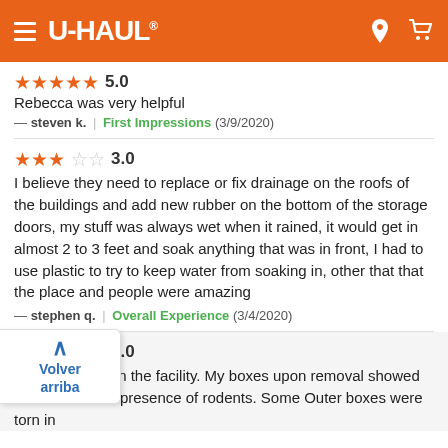U-HAUL navigation header
★★★★★ 5.0
Rebecca was very helpful
— steven k. | First Impressions (3/9/2020)
★★★☆☆ 3.0
I believe they need to replace or fix drainage on the roofs of the buildings and add new rubber on the bottom of the storage doors, my stuff was always wet when it rained, it would get in almost 2 to 3 feet and soak anything that was in front, I had to use plastic to try to keep water from soaking in, other that that the place and people were amazing
— stephen q. | Overall Experience (3/4/2020)
★★☆☆☆ 2.0
...ere rats in the facility. My boxes upon removal showed evidence to the presence of rodents. Some Outer boxes were torn in
Volver arriba